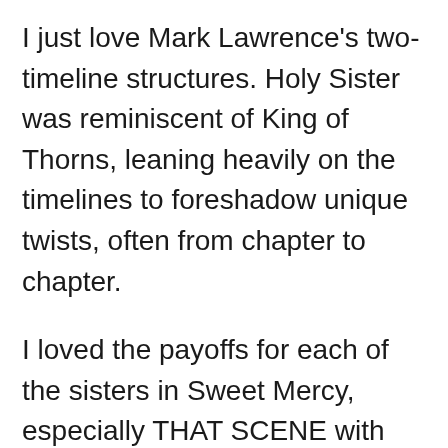I just love Mark Lawrence's two-timeline structures. Holy Sister was reminiscent of King of Thorns, leaning heavily on the timelines to foreshadow unique twists, often from chapter to chapter.
I loved the payoffs for each of the sisters in Sweet Mercy, especially THAT SCENE with Mistress Path [reasons redacted!]. Suffice it to say, the nuns of Sweet Mercy stand alone in their skill, knowledge, and bravery.
Nona is such a joy to read. She has grown so